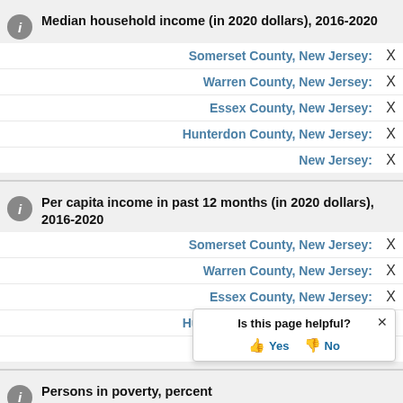Median household income (in 2020 dollars), 2016-2020
Somerset County, New Jersey: X
Warren County, New Jersey: X
Essex County, New Jersey: X
Hunterdon County, New Jersey: X
New Jersey: X
Per capita income in past 12 months (in 2020 dollars), 2016-2020
Somerset County, New Jersey: X
Warren County, New Jersey: X
Essex County, New Jersey: X
Hunterdon County, New Jersey: X
New Jersey: X
Persons in poverty, percent